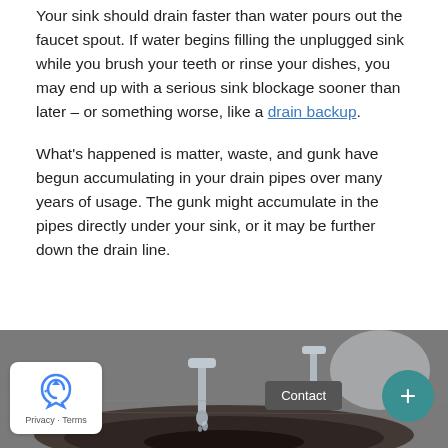Your sink should drain faster than water pours out the faucet spout. If water begins filling the unplugged sink while you brush your teeth or rinse your dishes, you may end up with a serious sink blockage sooner than later – or something worse, like a drain backup.
What's happened is matter, waste, and gunk have begun accumulating in your drain pipes over many years of usage. The gunk might accumulate in the pipes directly under your sink, or it may be further down the drain line.
[Figure (photo): Photo of a sink drain with water and debris, showing a clogged or dirty sink basin. Overlaid UI elements include a reCAPTCHA privacy badge (bottom left), a Contact button (bottom right area), and a teal plus button (far bottom right).]